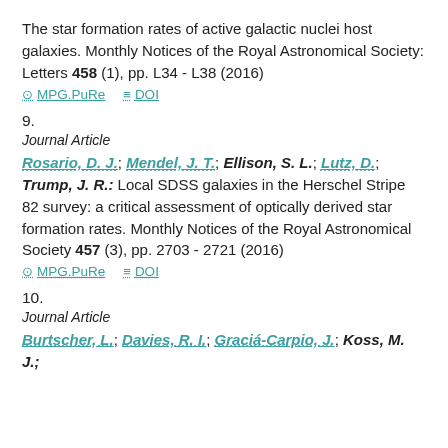The star formation rates of active galactic nuclei host galaxies. Monthly Notices of the Royal Astronomical Society: Letters 458 (1), pp. L34 - L38 (2016)
MPG.PuRe   DOI
9.
Journal Article
Rosario, D. J.; Mendel, J. T.; Ellison, S. L.; Lutz, D.; Trump, J. R.: Local SDSS galaxies in the Herschel Stripe 82 survey: a critical assessment of optically derived star formation rates. Monthly Notices of the Royal Astronomical Society 457 (3), pp. 2703 - 2721 (2016)
MPG.PuRe   DOI
10.
Journal Article
Burtscher, L.; Davies, R. I.; Graciá-Carpio, J.; Koss, M. J.;